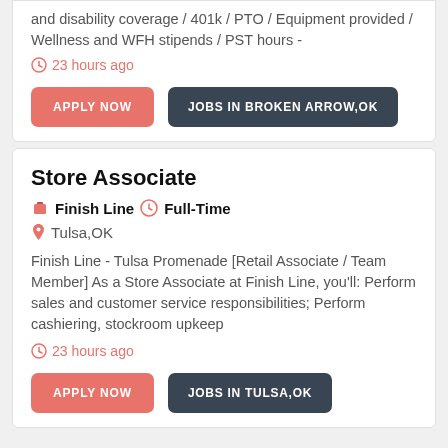and disability coverage / 401k / PTO / Equipment provided / Wellness and WFH stipends / PST hours -
23 hours ago
APPLY NOW
JOBS IN BROKEN ARROW,OK
Store Associate
Finish Line  Full-Time
Tulsa,OK
Finish Line - Tulsa Promenade [Retail Associate / Team Member] As a Store Associate at Finish Line, you'll: Perform sales and customer service responsibilities; Perform cashiering, stockroom upkeep
23 hours ago
APPLY NOW
JOBS IN TULSA,OK